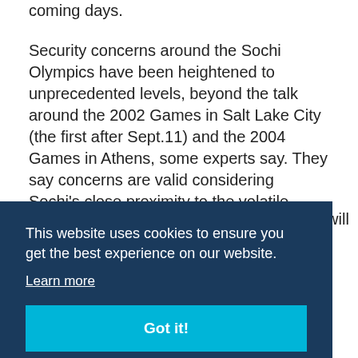coming days.
Security concerns around the Sochi Olympics have been heightened to unprecedented levels, beyond the talk around the 2002 Games in Salt Lake City (the first after Sept.11) and the 2004 Games in Athens, some experts say. They say concerns are valid considering Sochi's close proximity to the volatile Caucasus region.
[Figure (screenshot): Cookie consent overlay on dark navy background with text 'This website uses cookies to ensure you get the best experience on our website.' with a 'Learn more' link and a teal 'Got it!' button.]
ia will ch
of a militant group from the Caucasus region, and two